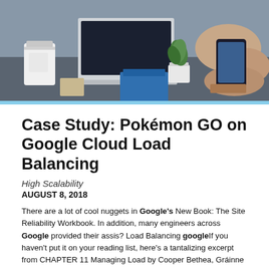[Figure (photo): Office desk scene with laptop, coffee cup, small plant, and person using smartphone on right side]
Case Study: Pokémon GO on Google Cloud Load Balancing
High Scalability
AUGUST 8, 2018
There are a lot of cool nuggets in Google's New Book: The Site Reliability Workbook. In addition, many engineers across Google provided their assis? Load Balancing googleIf you haven't put it on your reading list, here's a tantalizing excerpt from CHAPTER 11 Managing Load by Cooper Bethea, Gráinne Sheerin, Jennifer Mace, and Ruth King with Gary Luo and Gary O'Connor. Niantic launched Pokémon GO in the summer of 2016.